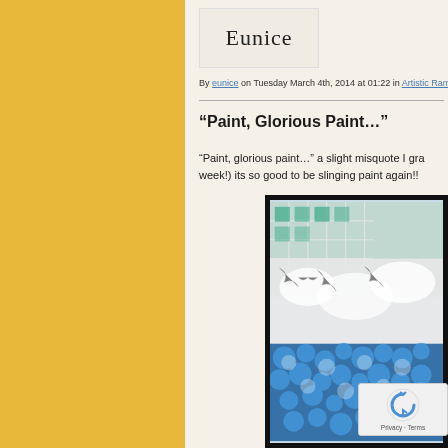[Figure (logo): Handwritten-style 'Eunice' logo in a light beige box]
By eunice on Tuesday March 4th, 2014 at 01:22 in Artistic Rambling
“Paint, Glorious Paint…”
“Paint, glorious paint…” a slight misquote I gra week!) its so good to be slinging paint again!!
[Figure (photo): Artwork photo in black frame showing blue paint textures with grid patterns and bubble/foam-like blue paint on white background]